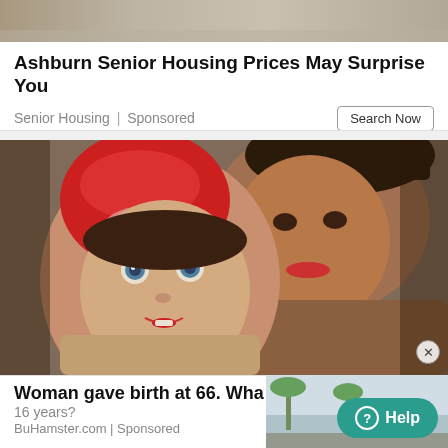[Figure (photo): Top strip: partial photo of a building or roof in muted browns/tans]
Ashburn Senior Housing Prices May Surprise You
Senior Housing | Sponsored
[Figure (photo): Close-up photo of a young child wearing a red hood and an elderly woman with deep wrinkles wearing a dark hat, both facing camera]
Woman gave birth at 66. Wha
16 years?
BuHamster.com | Sponsored
[Figure (screenshot): Small video thumbnail showing people outdoors with palm trees]
Help